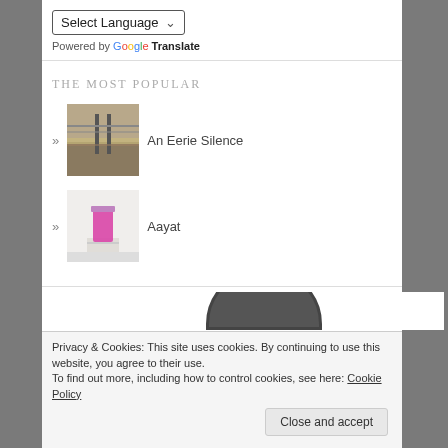Select Language
Powered by Google Translate
THE MOST POPULAR
An Eerie Silence
Aayat
Privacy & Cookies: This site uses cookies. By continuing to use this website, you agree to their use.
To find out more, including how to control cookies, see here: Cookie Policy
Close and accept